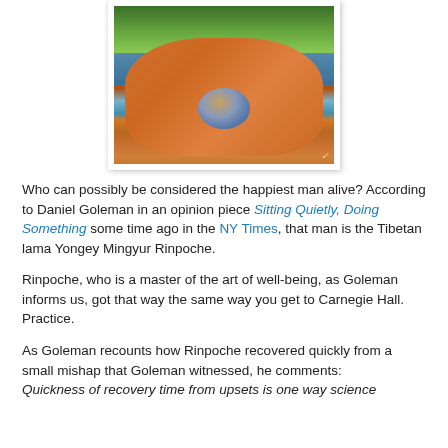[Figure (photo): Hands cupped together holding a water droplet reflecting a city/temple skyline, with green grass and water in the background.]
Who can possibly be considered the happiest man alive? According to Daniel Goleman in an opinion piece Sitting Quietly, Doing Something some time ago in the NY Times, that man is the Tibetan lama Yongey Mingyur Rinpoche.
Rinpoche, who is a master of the art of well-being, as Goleman informs us, got that way the same way you get to Carnegie Hall. Practice.
As Goleman recounts how Rinpoche recovered quickly from a small mishap that Goleman witnessed, he comments: Quickness of recovery time from upsets is one way science